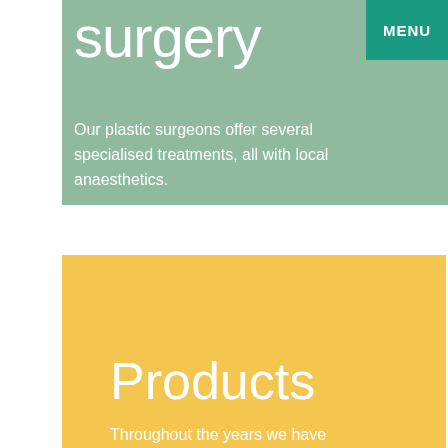surgery
Our plastic surgeons offer several specialised treatments, all with local anaesthetics.
MENU
Products
Throughout the years we have